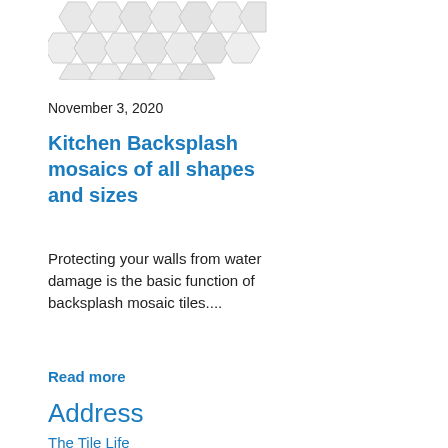[Figure (illustration): Hexagonal mosaic tile pattern in light gray tones, arranged in a honeycomb-like grid, partially cropped at the top of the page.]
November 3, 2020
Kitchen Backsplash mosaics of all shapes and sizes
Protecting your walls from water damage is the basic function of backsplash mosaic tiles....
Read more
Address
The Tile Life